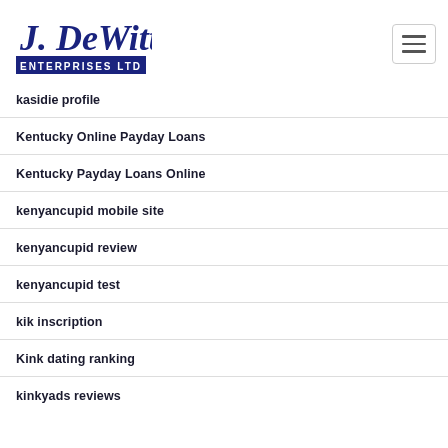[Figure (logo): J. DeWitt Enterprises Ltd logo in navy blue]
kasidie profile
Kentucky Online Payday Loans
Kentucky Payday Loans Online
kenyancupid mobile site
kenyancupid review
kenyancupid test
kik inscription
Kink dating ranking
kinkyads reviews